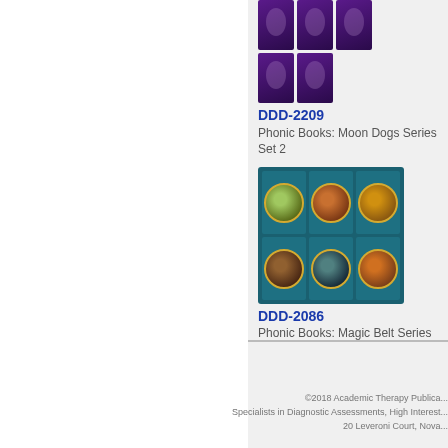[Figure (photo): Five small book covers for Phonic Books Moon Dogs Series Set 2 — dark purple/blue covers arranged in two rows (3 on top, 2 on bottom)]
DDD-2209
Phonic Books: Moon Dogs Series Set 2
[Figure (photo): Six book covers for Phonic Books Magic Belt Series arranged in a 3x2 grid — teal/green background with circular illustrated medallion covers]
DDD-2086
Phonic Books: Magic Belt Series
©2018 Academic Therapy Publica...
Specialists in Diagnostic Assessments, High Interest...
20 Leveroni Court, Nova...